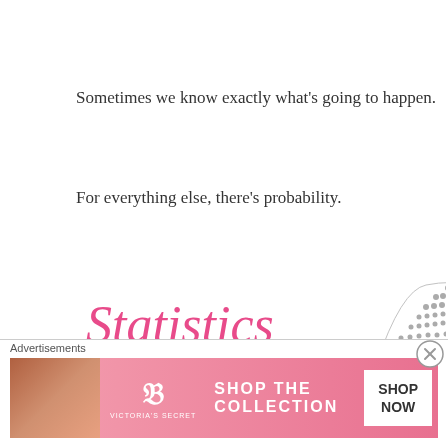Sometimes we know exactly what's going to happen.
For everything else, there's probability.
[Figure (illustration): Handwritten pink text reading 'Statistics' with underline, alongside a small illustration of a normal distribution curve made of stick figures arranged in a bell curve shape]
[Figure (illustration): Handwritten pink text reading 'is the mathematics of']
[Figure (illustration): Handwritten pink text reading 'populations.' with underline, and 'n = 30' in gray italic text to the left]
Advertisements